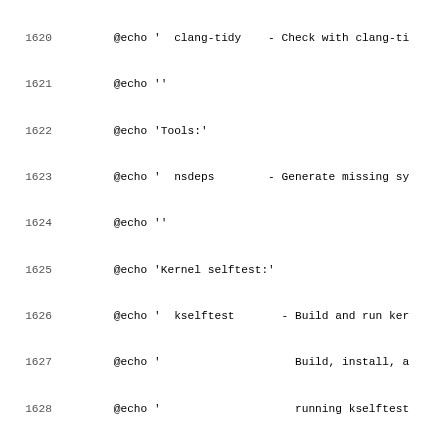Source code listing lines 1620-1651 of a Linux kernel Makefile showing @echo statements and build target documentation